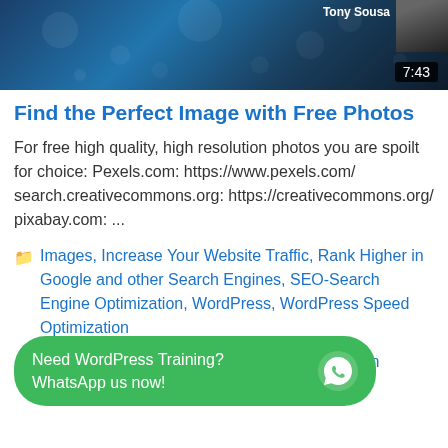[Figure (screenshot): Video thumbnail showing a blue underwater or space-like scene with 'Tony Sousa' text and person avatar in top right, and duration '7:43' in bottom right corner]
Find the Perfect Image with Free Photos
For free high quality, high resolution photos you are spoilt for choice: Pexels.com: https://www.pexels.com/ search.creativecommons.org: https://creativecommons.org/ pixabay.com: ...
Images, Increase Your Website Traffic, Rank Higher in Google and other Search Engines, SEO-Search Engine Optimization, WordPress, WordPress Speed Optimization
free photos, SEO, wordpress speed optimization
Need WordPress Training? WhatsApp us now!